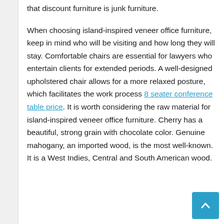that discount furniture is junk furniture.
When choosing island-inspired veneer office furniture, keep in mind who will be visiting and how long they will stay. Comfortable chairs are essential for lawyers who entertain clients for extended periods. A well-designed upholstered chair allows for a more relaxed posture, which facilitates the work process 8 seater conference table price. It is worth considering the raw material for island-inspired veneer office furniture. Cherry has a beautiful, strong grain with chocolate color. Genuine mahogany, an imported wood, is the most well-known. It is a West Indies, Central and South American wood.